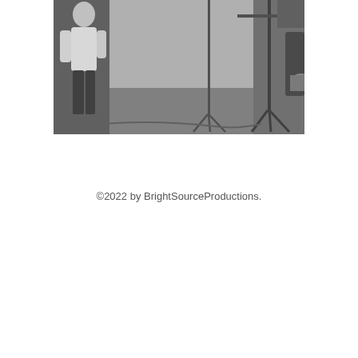[Figure (photo): Black and white photograph of a person standing in a photography studio with backdrop stands, lighting equipment, and grey backdrop visible.]
©2022 by BrightSourceProductions.